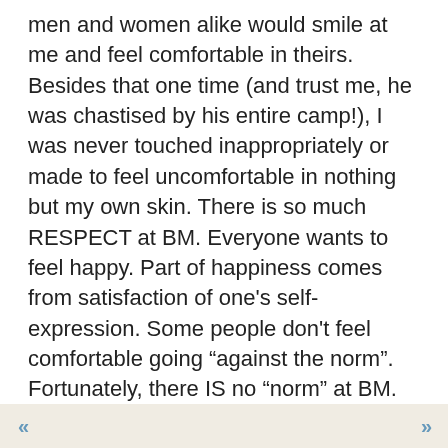men and women alike would smile at me and feel comfortable in theirs. Besides that one time (and trust me, he was chastised by his entire camp!), I was never touched inappropriately or made to feel uncomfortable in nothing but my own skin. There is so much RESPECT at BM. Everyone wants to feel happy. Part of happiness comes from satisfaction of one's self-expression. Some people don't feel comfortable going "against the norm". Fortunately, there IS no "norm" at BM. You are who you are! I am who I am! And You and I together create harmony!
One thing that makes the camps so wonderful is that money does not exist. One can walk around to the camps, get fed, get water, find a place to sleep, get a massage, make new friends and new lovers etc... without paying a dime! People genuinely care about each other t there. When I found myself sitting alone in the ddle of the desert taking everything in, at least 20
« »